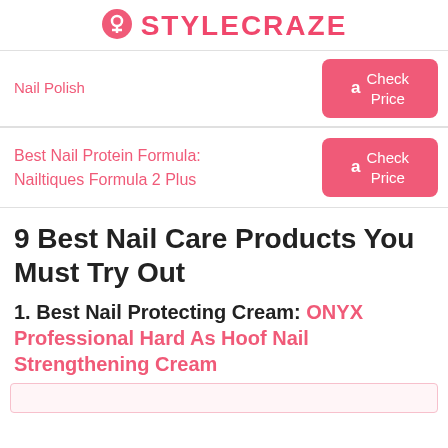STYLECRAZE
Nail Polish — Check Price
Best Nail Protein Formula: Nailtiques Formula 2 Plus — Check Price
9 Best Nail Care Products You Must Try Out
1. Best Nail Protecting Cream: ONYX Professional Hard As Hoof Nail Strengthening Cream
[Figure (other): Pink box at bottom of page]